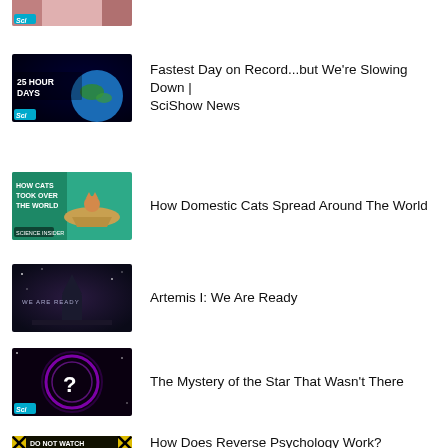[Figure (screenshot): Partial thumbnail at top of page, cropped science channel image with SciShow logo]
Fastest Day on Record...but We're Slowing Down | SciShow News
How Domestic Cats Spread Around The World
Artemis I: We Are Ready
The Mystery of the Star That Wasn't There
How Does Reverse Psychology Work?